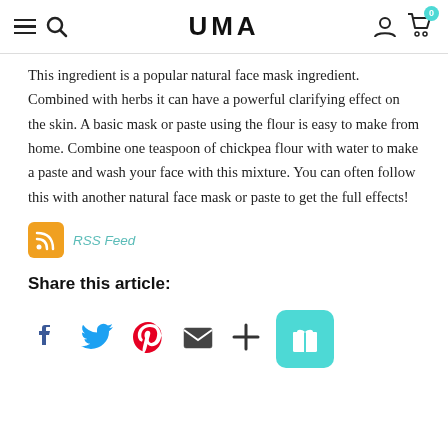UMA
This ingredient is a popular natural face mask ingredient. Combined with herbs it can have a powerful clarifying effect on the skin. A basic mask or paste using the flour is easy to make from home. Combine one teaspoon of chickpea flour with water to make a paste and wash your face with this mixture. You can often follow this with another natural face mask or paste to get the full effects!
RSS Feed
Share this article:
[Figure (infographic): Social share icons: Facebook, Twitter, Pinterest, Email, More (+), and a teal gift button]